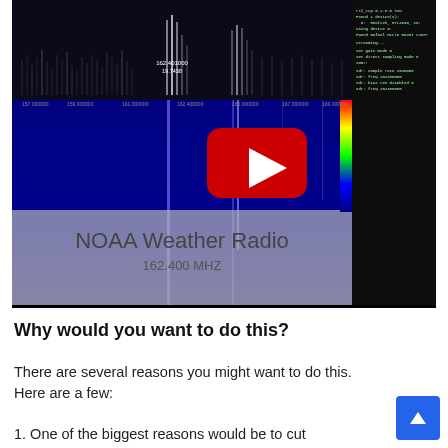[Figure (screenshot): YouTube video thumbnail showing SDR (Software Defined Radio) spectrum analyzer display. Top portion shows a spectrum/waterfall view with frequency peaks, labeled 'NOAA Weather Radio 162.400 MHZ'. Right side shows a terminal/console window with command-line text. A YouTube play button (red rounded rectangle with white triangle) is overlaid in the center of the waterfall portion.]
Why would you want to do this?
There are several reasons you might want to do this. Here are a few:
1. One of the biggest reasons would be to cut